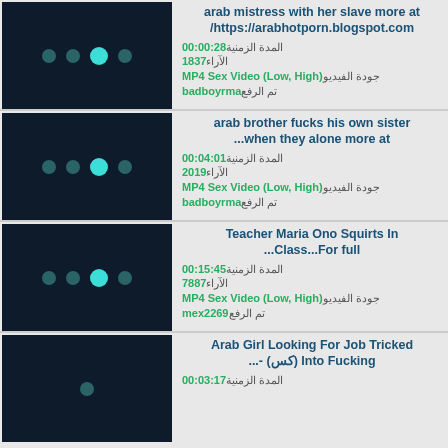[Figure (screenshot): Video thumbnail with dark navy background and three dots (two teal small, one large teal center)]
arab mistress with her slave more at /https://arabhotporn.blogspot.com
00:00:28 المدة الزمنية
1837 الآراء
MP4 Sex Video (Low, High) جودة الفيديو
badboyrma تم الرفع
[Figure (screenshot): Video thumbnail with dark navy background and three dots (two teal small, one large teal center)]
arab brother fucks his own sister ...when they alone more at
00:04:01 المدة الزمنية
2019 الآراء
MP4 Sex Video (Low, High) جودة الفيديو
badboyrma تم الرفع
[Figure (screenshot): Video thumbnail with dark navy background and three dots (two teal small, one large teal center)]
Teacher Maria Ono Squirts In ...Class...For full
00:15:45 المدة الزمنية
7887 الآراء
MP4 Sex Video (Low, High) جودة الفيديو
mex2269 تم الرفع
[Figure (screenshot): Video thumbnail with dark navy background, partially visible]
Arab Girl Looking For Job Tricked ...- (كس) Into Fucking
00:03:17 المدة الزمنية